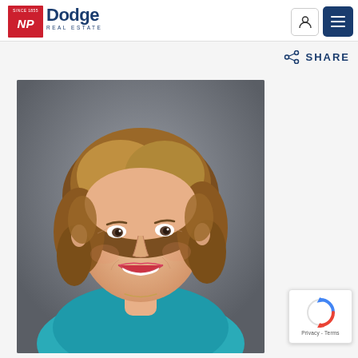[Figure (logo): NP Dodge Real Estate logo — red box with NP in white italic, 'Since 1855' text, next to 'Dodge' in navy and 'REAL ESTATE' in small navy caps]
[Figure (other): Navigation header icons: user account icon button and navy blue hamburger menu button]
SHARE
[Figure (photo): Professional headshot of a smiling middle-aged woman with curly/wavy medium-length brown hair, wearing a teal/turquoise blazer and a necklace, photographed against a gray background]
[Figure (other): reCAPTCHA badge with Google spinning arrows logo and 'Privacy - Terms' text]